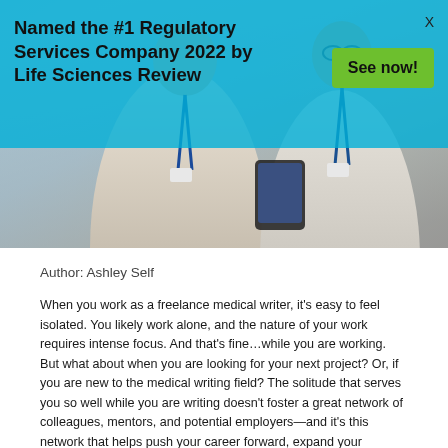[Figure (photo): Banner advertisement overlay on a photo of two professionals in lanyards looking at a smartphone. The banner has a light blue/cyan semi-transparent background with text 'Named the #1 Regulatory Services Company 2022 by Life Sciences Review' and a green 'See now!' button.]
Named the #1 Regulatory Services Company 2022 by Life Sciences Review
Author: Ashley Self
When you work as a freelance medical writer, it's easy to feel isolated. You likely work alone, and the nature of your work requires intense focus. And that's fine…while you are working. But what about when you are looking for your next project? Or, if you are new to the medical writing field? The solitude that serves you so well while you are writing doesn't foster a great network of colleagues, mentors, and potential employers—and it's this network that helps push your career forward, expand your knowledge and refer you to new work opportunities.